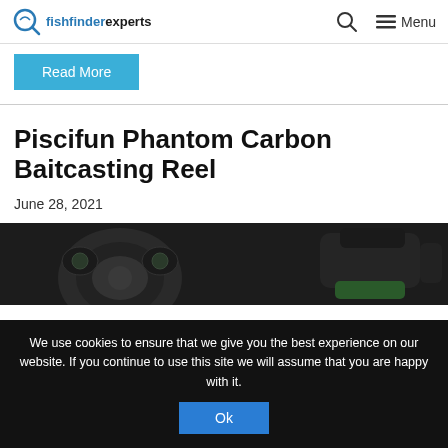fishfinderexperts — Search | Menu
Read More
Piscifun Phantom Carbon Baitcasting Reel
June 28, 2021
[Figure (photo): Photo of Piscifun Phantom Carbon Baitcasting Reel, black with green accents, shown from the side]
We use cookies to ensure that we give you the best experience on our website. If you continue to use this site we will assume that you are happy with it.
Ok